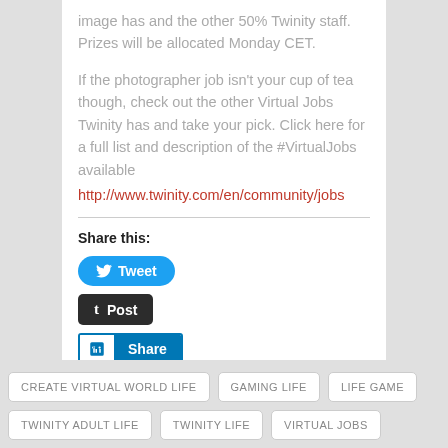image has and the other 50% Twinity staff. Prizes will be allocated Monday CET.
If the photographer job isn't your cup of tea though, check out the other Virtual Jobs Twinity has and take your pick. Click here for a full list and description of the #VirtualJobs available
http://www.twinity.com/en/community/jobs
Share this:
[Figure (other): Tweet button (Twitter), Post button (Tumblr), Share button (LinkedIn)]
CREATE VIRTUAL WORLD LIFE
GAMING LIFE
LIFE GAME
TWINITY ADULT LIFE
TWINITY LIFE
VIRTUAL JOBS